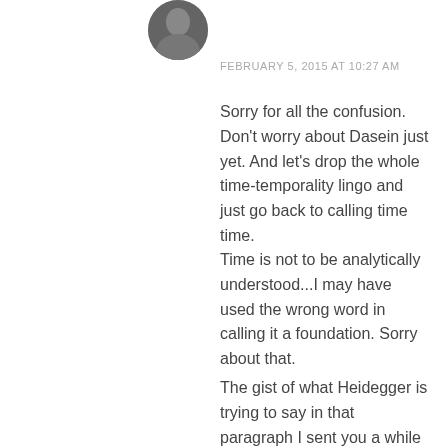[Figure (photo): Circular avatar photo of a person, partially visible at top of page]
FEBRUARY 5, 2015 AT 10:27 AM
Sorry for all the confusion. Don't worry about Dasein just yet. And let's drop the whole time-temporality lingo and just go back to calling time time.
Time is not to be analytically understood...I may have used the wrong word in calling it a foundation. Sorry about that.
The gist of what Heidegger is trying to say in that paragraph I sent you a while back is that the